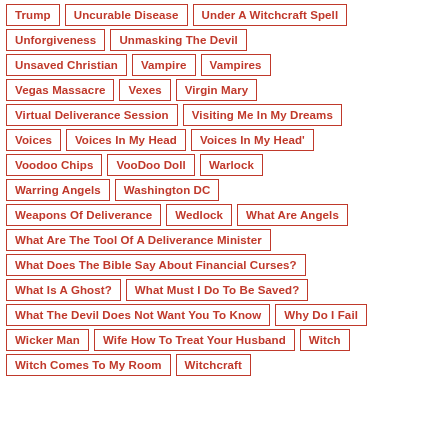Trump
Uncurable Disease
Under A Witchcraft Spell
Unforgiveness
Unmasking The Devil
Unsaved Christian
Vampire
Vampires
Vegas Massacre
Vexes
Virgin Mary
Virtual Deliverance Session
Visiting Me In My Dreams
Voices
Voices In My Head
Voices In My Head'
Voodoo Chips
VooDoo Doll
Warlock
Warring Angels
Washington DC
Weapons Of Deliverance
Wedlock
What Are Angels
What Are The Tool Of A Deliverance Minister
What Does The Bible Say About Financial Curses?
What Is A Ghost?
What Must I Do To Be Saved?
What The Devil Does Not Want You To Know
Why Do I Fail
Wicker Man
Wife How To Treat Your Husband
Witch
Witch Comes To My Room
Witchcraft